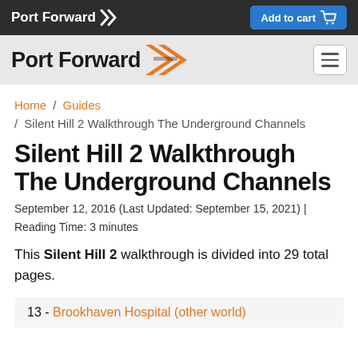Port Forward | Add to cart
[Figure (logo): Port Forward logo with orange double-chevron arrow on dark nav bar]
[Figure (logo): Port Forward logo with orange double-chevron arrow on light sub-nav, with hamburger menu button]
Home / Guides / Silent Hill 2 Walkthrough The Underground Channels
Silent Hill 2 Walkthrough The Underground Channels
September 12, 2016 (Last Updated: September 15, 2021) | Reading Time: 3 minutes
This Silent Hill 2 walkthrough is divided into 29 total pages.
13 - Brookhaven Hospital (other world)